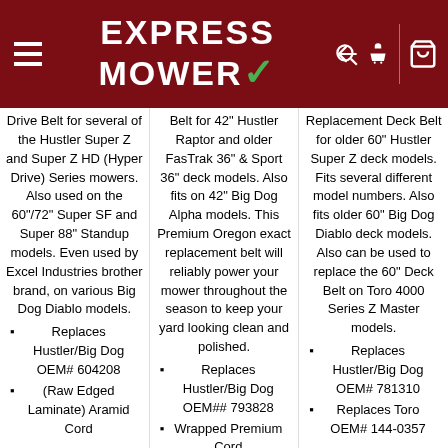EXPRESS MOWER
Drive Belt for several of the Hustler Super Z and Super Z HD (Hyper Drive) Series mowers. Also used on the 60"/72" Super SF and Super 88" Standup models. Even used by Excel Industries brother brand, on various Big Dog Diablo models.
Replaces Hustler/Big Dog OEM# 604208
(Raw Edged Laminate) Aramid Cord
Belt for 42" Hustler Raptor and older FasTrak 36" & Sport 36" deck models. Also fits on 42" Big Dog Alpha models. This Premium Oregon exact replacement belt will reliably power your mower throughout the season to keep your yard looking clean and polished.
Replaces Hustler/Big Dog OEM## 793828
Wrapped Premium Cord
Replacement Deck Belt for older 60" Hustler Super Z deck models. Fits several different model numbers. Also fits older 60" Big Dog Diablo deck models. Also can be used to replace the 60" Deck Belt on Toro 4000 Series Z Master models.
Replaces Hustler/Big Dog OEM# 781310
Replaces Toro OEM# 144-0357